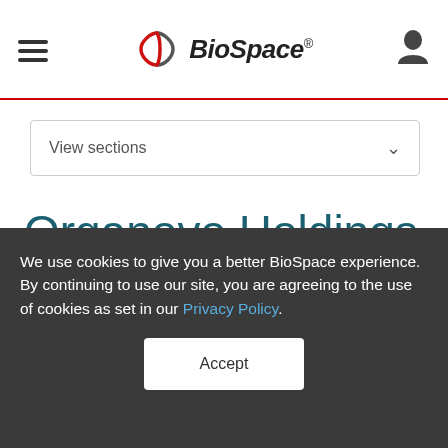BioSpace
View sections
Organovo Holdings Founder Calls on Board of Directors to Accept
We use cookies to give you a better BioSpace experience. By continuing to use our site, you are agreeing to the use of cookies as set in our Privacy Policy.
Accept